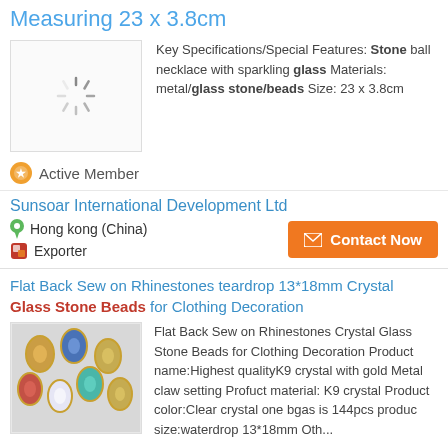Measuring 23 x 3.8cm
[Figure (photo): Loading spinner / placeholder image for a stone ball necklace product]
Key Specifications/Special Features: Stone ball necklace with sparkling glass Materials: metal/glass stone/beads Size: 23 x 3.8cm
Active Member
Sunsoar International Development Ltd
Hong kong (China)
Exporter
Contact Now
Flat Back Sew on Rhinestones teardrop 13*18mm Crystal Glass Stone Beads for Clothing Decoration
[Figure (photo): Photo of multiple teardrop-shaped crystal rhinestones in various colors (gold, blue, red, green, clear, champagne) with gold claw settings, arranged on a light surface]
Flat Back Sew on Rhinestones Crystal Glass Stone Beads for Clothing Decoration Product name:Highest qualityK9 crystal with gold Metal claw setting Profuct material: K9 crystal Product color:Clear crystal one bgas is 144pcs produc size:waterdrop 13*18mm Oth...